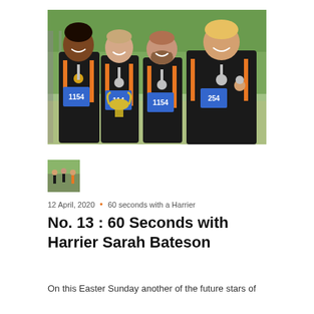[Figure (photo): Four male runners in black and orange Harriers vests with race bibs numbered around 1154, wearing medals, one holding a trophy cup, posing together outdoors in front of metal railings and trees]
[Figure (photo): Small thumbnail image of a group of runners]
12 April, 2020 • 60 seconds with a Harrier
No. 13 : 60 Seconds with Harrier Sarah Bateson
On this Easter Sunday another of the future stars of